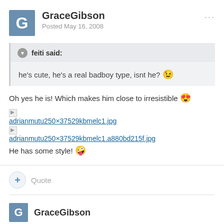GraceGibson
Posted May 16, 2008
feiti said:
he's cute, he's a real badboy type, isnt he? 😉
Oh yes he is! Which makes him close to irresistible 😍
adrianmutu250×37529kbmelc1.jpg
adrianmutu250×37529kbmelc1.a880bd215f.jpg
He has some style! 😜
Quote
GraceGibson